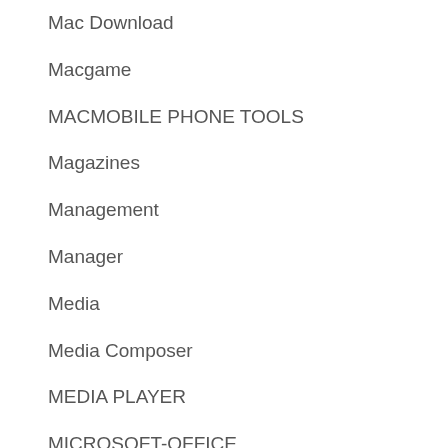Mac Download
Macgame
MACMOBILE PHONE TOOLS
Magazines
Management
Manager
Media
Media Composer
MEDIA PLAYER
MICROSOFT-OFFICE
Miscellaneous